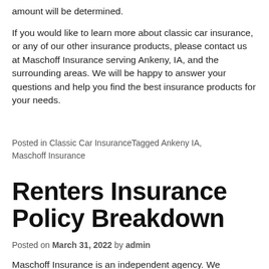amount will be determined.
If you would like to learn more about classic car insurance, or any of our other insurance products, please contact us at Maschoff Insurance serving Ankeny, IA, and the surrounding areas. We will be happy to answer your questions and help you find the best insurance products for your needs.
Posted in Classic Car InsuranceTagged Ankeny IA, Maschoff Insurance
Renters Insurance Policy Breakdown
Posted on March 31, 2022 by admin
Maschoff Insurance is an independent agency. We